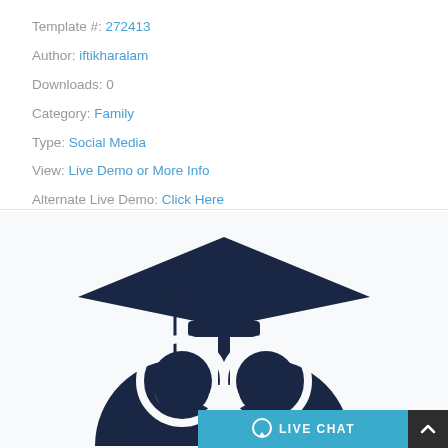Template #: 272413
Author: iftikharalam
Downloads: 0
Category: Family
Type: Social Media
View: Live Demo or More Info
Alternate Live Demo: Click Here
[Figure (illustration): Graduation cap icon (dark navy) above two circular person silhouettes, representing an education or family learning template thumbnail]
LIVE CHAT